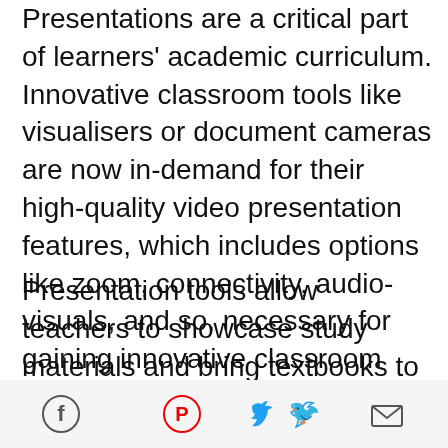Presentations are a critical part of learners' academic curriculum. Innovative classroom tools like visualisers or document cameras are now in-demand for their high-quality video presentation features, which includes options like zoom, connectivity, audio-visuals, and so, necessary for gaining innovative classroom experience.
Presentation tools allow teachers to showcase study materials and bring textbooks to life so students can become more indulgent, discover new perspectives to learning with different functionalities, and never feel isolated in a remote
[Figure (infographic): Social sharing icons row: Facebook (blue circle with f), Pinterest (red circle with P), Twitter (blue bird icon), Email (envelope icon) on a light grey background bar]